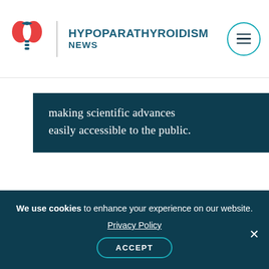HYPOPARATHYROIDISM NEWS
making scientific advances easily accessible to the public.
Tags
health care proxy, hypoparathyroidism, treatment plan
We use cookies to enhance your experience on our website. Privacy Policy ACCEPT